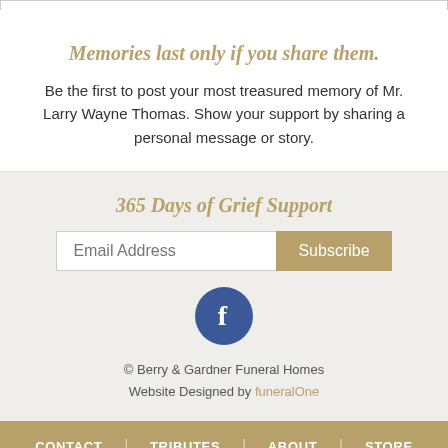Memories last only if you share them.
Be the first to post your most treasured memory of Mr. Larry Wayne Thomas. Show your support by sharing a personal message or story.
365 Days of Grief Support
[Figure (other): Email subscription form with 'Email Address' input field and 'Subscribe' button]
[Figure (other): Facebook circular icon button in dark blue]
© Berry & Gardner Funeral Homes
Website Designed by funeralOne
CONTACT | TRIBUTES | ABOUT | STORE